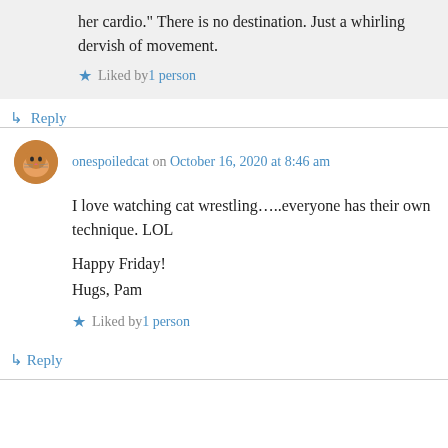her cardio." There is no destination. Just a whirling dervish of movement.
★ Liked by 1 person
↳ Reply
onespoiledcat on October 16, 2020 at 8:46 am
I love watching cat wrestling…..everyone has their own technique. LOL

Happy Friday!
Hugs, Pam
★ Liked by 1 person
↳ Reply